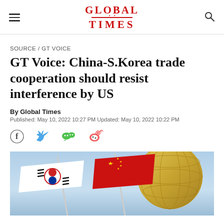GLOBAL TIMES
SOURCE / GT VOICE
GT Voice: China-S.Korea trade cooperation should resist interference by US
By Global Times
Published: May 10, 2022 10:27 PM Updated: May 10, 2022 10:22 PM
[Figure (illustration): Social media share icons: Facebook, Twitter, WeChat, Weibo]
[Figure (photo): South Korean and Chinese flags crossed in front of a golden globe sculpture against a light blue sky background]